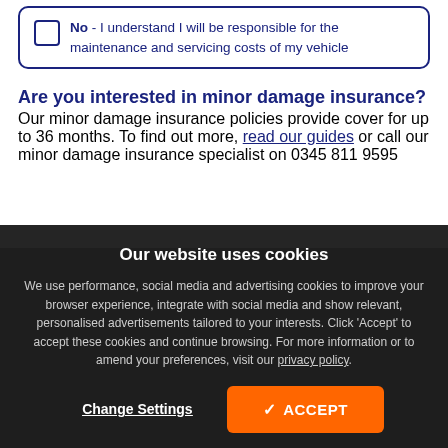No - I understand I will be responsible for the maintenance and servicing costs of my vehicle
Are you interested in minor damage insurance?
Our minor damage insurance policies provide cover for up to 36 months. To find out more, read our guides or call our minor damage insurance specialist on 0345 811 9595
Vehicle options
£813.91
Our website uses cookies
We use performance, social media and advertising cookies to improve your browser experience, integrate with social media and show relevant, personalised advertisements tailored to your interests. Click 'Accept' to accept these cookies and continue browsing. For more information or to amend your preferences, visit our privacy policy.